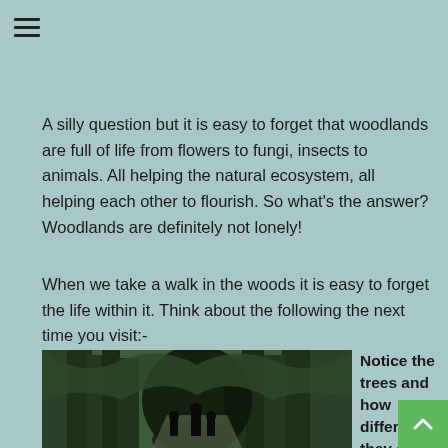[Figure (other): Hamburger menu icon (three horizontal lines) in top left corner]
A silly question but it is easy to forget that woodlands are full of life from flowers to fungi, insects to animals. All helping the natural ecosystem, all helping each other to flourish. So what's the answer? Woodlands are definitely not lonely!
When we take a walk in the woods it is easy to forget the life within it. Think about the following the next time you visit:-
[Figure (photo): Photo of three people (silhouettes) walking through a dense dark forest tunnel of trees on a path]
Notice the trees and how different they are from